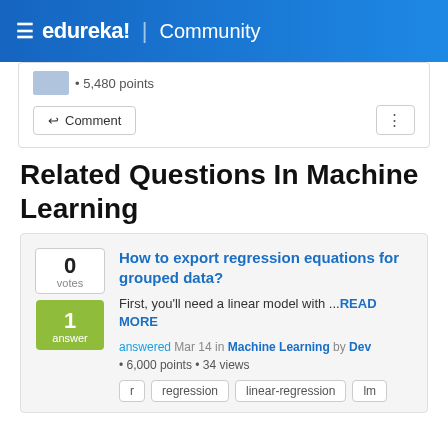≡ edureka! | Community
• 5,480 points
Comment
Related Questions In Machine Learning
0 votes
1 answer
How to export regression equations for grouped data?
First, you'll need a linear model with ...READ MORE
answered Mar 14 in Machine Learning by Dev
• 6,000 points • 34 views
r
regression
linear-regression
lm